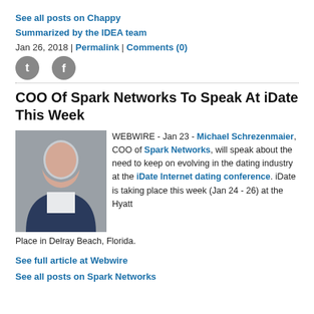See all posts on Chappy
Summarized by the IDEA team
Jan 26, 2018 | Permalink | Comments (0)
[Figure (other): Twitter and Facebook social sharing icons]
COO Of Spark Networks To Speak At iDate This Week
WEBWIRE - Jan 23 - Michael Schrezenmaier, COO of Spark Networks, will speak about the need to keep on evolving in the dating industry at the iDate Internet dating conference. iDate is taking place this week (Jan 24 - 26) at the Hyatt Place in Delray Beach, Florida.
[Figure (photo): Photo of Michael Schrezenmaier, a man in a dark blazer with arms crossed, smiling]
See full article at Webwire
See all posts on Spark Networks